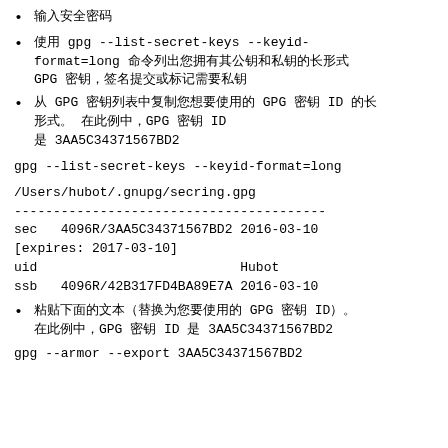输入安全密码
使用 gpg --list-secret-keys --keyid-format=long 命令列出您拥有其公钥和私钥的长形式 GPG 密钥，签名提交或标记需要私钥
从 GPG 密钥列表中复制您想要使用的 GPG 密钥 ID 的长形式。 在此例中，GPG 密钥 ID 是 3AA5C34371567BD2
gpg --list-secret-keys --keyid-format=long
/Users/hubot/.gnupg/secring.gpg
----------------------------------------
sec   4096R/3AA5C34371567BD2 2016-03-10
[expires: 2017-03-10]
uid                          Hubot
ssb   4096R/42B317FD4BA89E7A 2016-03-10
粘贴下面的文本（替换为您要使用的 GPG 密钥 ID）。在此例中，GPG 密钥 ID 是 3AA5C34371567BD2
gpg --armor --export 3AA5C34371567BD2